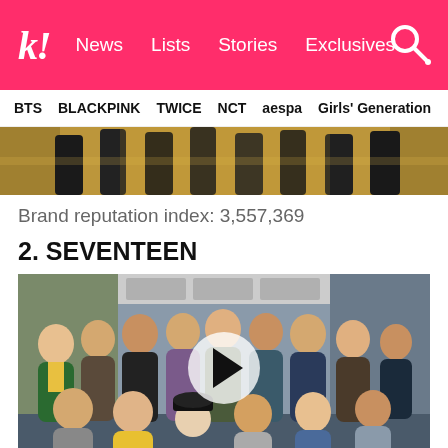k! News  Lists  Stories  Exclusives
BTS  BLACKPINK  TWICE  NCT  aespa  Girls' Generation
[Figure (photo): Partially visible group photo of K-pop artists with gold/glitter background, cropped at top of page]
Brand reputation index: 3,557,369
2. SEVENTEEN
[Figure (photo): Photo of SEVENTEEN group members posing inside/outside a bus, with a video play button overlay in the center]